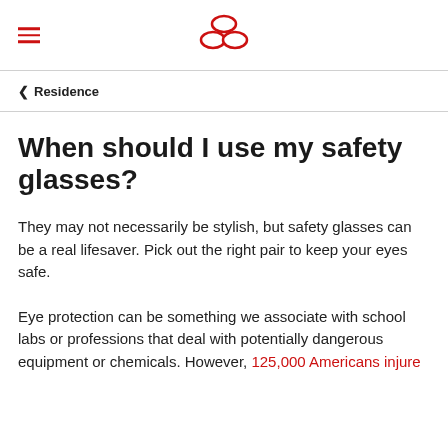[hamburger menu icon] [logo: three red ovals]
< Residence
When should I use my safety glasses?
They may not necessarily be stylish, but safety glasses can be a real lifesaver. Pick out the right pair to keep your eyes safe.
Eye protection can be something we associate with school labs or professions that deal with potentially dangerous equipment or chemicals. However, 125,000 Americans injure